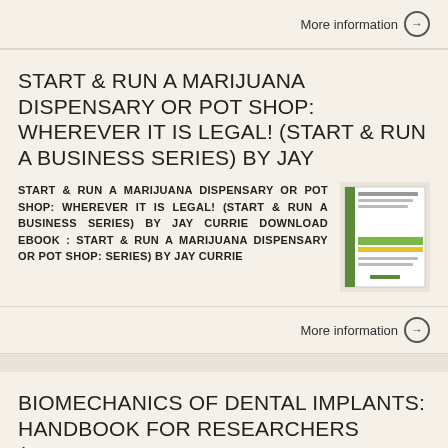More information →
START & RUN A MARIJUANA DISPENSARY OR POT SHOP: WHEREVER IT IS LEGAL! (START & RUN A BUSINESS SERIES) BY JAY
START & RUN A MARIJUANA DISPENSARY OR POT SHOP: WHEREVER IT IS LEGAL! (START & RUN A BUSINESS SERIES) BY JAY CURRIE DOWNLOAD EBOOK : START & RUN A MARIJUANA DISPENSARY OR POT SHOP: SERIES) BY JAY CURRIE
[Figure (illustration): Book cover thumbnail for Start & Run a Marijuana Dispensary or Pot Shop]
More information →
BIOMECHANICS OF DENTAL IMPLANTS: HANDBOOK FOR RESEARCHERS (DENTAL SCIENCE, MATERIALS AND TECHNOLOGY)